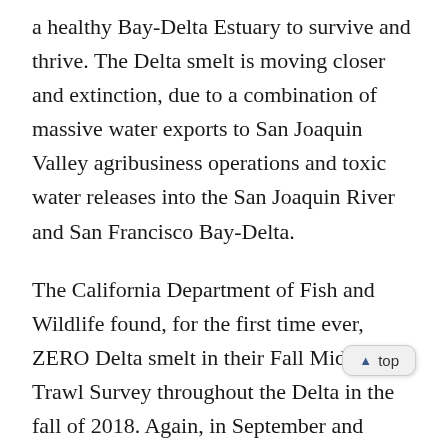a healthy Bay-Delta Estuary to survive and thrive. The Delta smelt is moving closer and extinction, due to a combination of massive water exports to San Joaquin Valley agribusiness operations and toxic water releases into the San Joaquin River and San Francisco Bay-Delta.
The California Department of Fish and Wildlife found, for the first time ever, ZERO Delta smelt in their Fall Midwater Trawl Survey throughout the Delta in the fall of 2018. Again, in September and October of 2019, the CDFW has caught zero Delta smelt in the annual trawl.